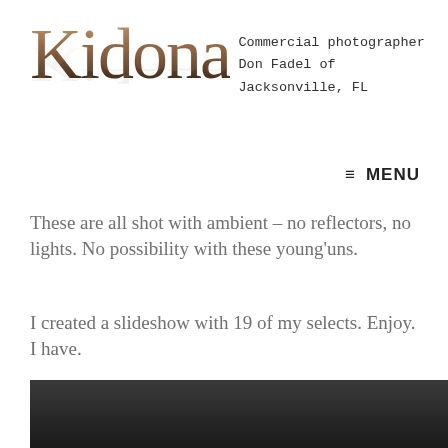Kidona – Commercial photographer Don Fadel of Jacksonville, FL
≡ MENU
These are all shot with ambient – no reflectors, no lights. No possibility with these young'uns.
I created a slideshow with 19 of my selects. Enjoy. I have.
Miss y'all already.
[Figure (photo): Dark/black photo area at the bottom of the page]